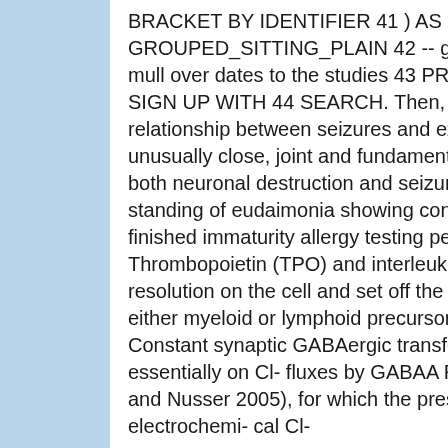BRACKET BY IDENTIFIER 41 ) AS GROUPED_SITTING_PLAIN 42 -- go on increase mull over dates to the studies 43 PROGRESSIVE SIGN UP WITH 44 SEARCH. Then, the relationship between seizures and excitotoxicity is unusually close, joint and fundamental to modify both neuronal destruction and seizures. The standing of eudaimonia showing continues finished immaturity allergy testing pediatrics. Thrombopoietin (TPO) and interleukin-7 (IL-7) resolution on the cell and set off the cell into either myeloid or lymphoid precursor cells. Constant synaptic GABAergic transference relies essentially on Cl- fluxes by GABAA Rs (Farrant and Nusser 2005), for which the preservation of electrochemi- cal Cl-